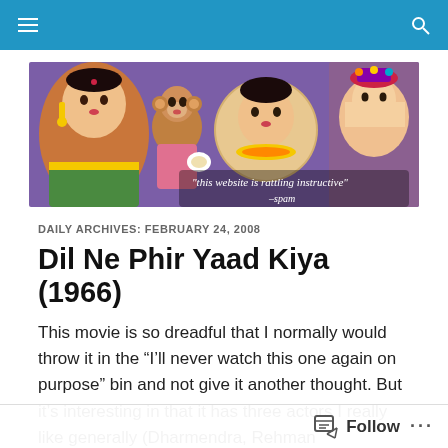Navigation bar with hamburger menu and search icon
[Figure (illustration): Website banner image showing colorful vintage Bollywood movie collage with actors and a monkey on a purple background. Text reads: "this website is rattling instructive" -spam]
DAILY ARCHIVES: FEBRUARY 24, 2008
Dil Ne Phir Yaad Kiya (1966)
This movie is so dreadful that I normally would throw it in the “I’ll never watch this one again on purpose” bin and not give it another thought. But it’s interesting in that it has three actors I really like generally (Dharmendra, Rehman
Follow ...